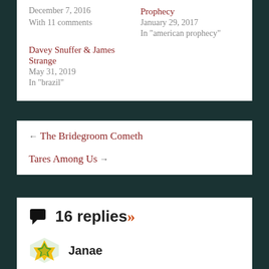December 7, 2016
With 11 comments
Prophecy
January 29, 2017
In "american prophecy"
Davey Snuffer & James Strange
May 31, 2019
In "brazil"
← The Bridegroom Cometh
Tares Among Us →
16 replies »
Janae